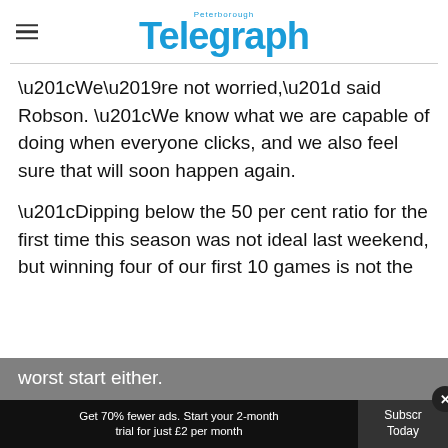Peterborough Telegraph
“We’re not worried,” said Robson. “We know what we are capable of doing when everyone clicks, and we also feel sure that will soon happen again.
“Dipping below the 50 per cent ratio for the first time this season was not ideal last weekend, but winning four of our first 10 games is not the worst start either.
Get 70% fewer ads. Start your 2-month trial for just £2 per month